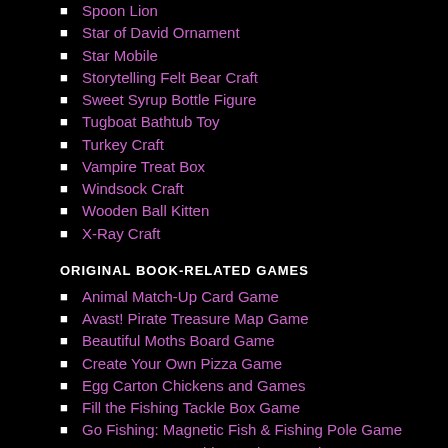Spoon Lion
Star of David Ornament
Star Mobile
Storytelling Felt Bear Craft
Sweet Syrup Bottle Figure
Tugboat Bathtub Toy
Turkey Craft
Vampire Treat Box
Windsock Craft
Wooden Ball Kitten
X-Ray Craft
ORIGINAL BOOK-RELATED GAMES
Animal Match-Up Card Game
Avast! Pirate Treasure Map Game
Beautiful Moths Board Game
Create Your Own Pizza Game
Egg Carton Chickens and Games
Fill the Fishing Tackle Box Game
Go Fishing: Magnetic Fish & Fishing Pole Game
Grow Your Vegetable Garden Board Game
Hot! Hot! Hot! Chili Pepper Game